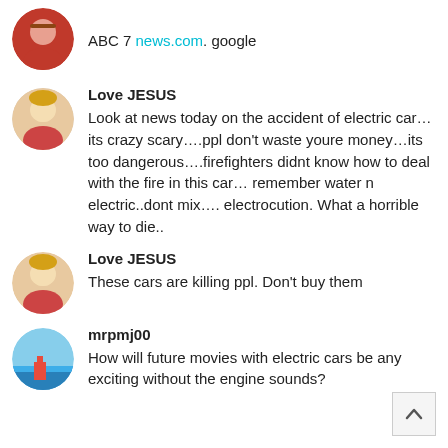ABC 7 news.com. google
Love JESUS
Look at news today on the accident of electric car…its crazy scary….ppl don't waste youre money…its too dangerous….firefighters didnt know how to deal with the fire in this car… remember water n electric..dont mix…. electrocution. What a horrible way to die..
Love JESUS
These cars are killing ppl. Don't buy them
mrpmj00
How will future movies with electric cars be any exciting without the engine sounds?